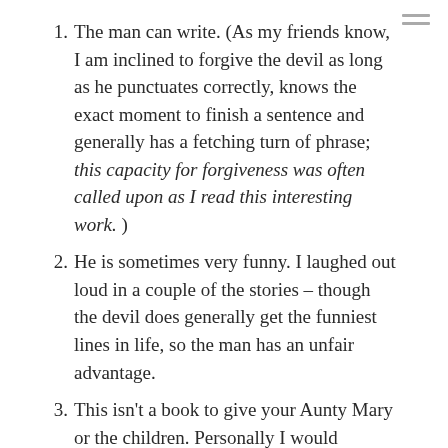The man can write.  (As my friends know, I am inclined to forgive the devil as long as he punctuates correctly, knows the exact moment to finish a sentence and generally has a fetching turn of phrase; this capacity for forgiveness was often called upon as I read this interesting work.  )
He is sometimes very funny.  I laughed out loud in a couple of the stories – though the devil does generally get the funniest lines in life, so the man has an unfair advantage.
This isn't a book to give your Aunty Mary or the children.  Personally I would caution against giving it to anyone. (I'm